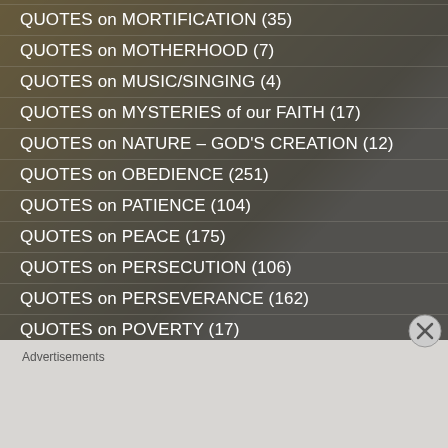QUOTES on MORTIFICATION (35)
QUOTES on MOTHERHOOD (7)
QUOTES on MUSIC/SINGING (4)
QUOTES on MYSTERIES of our FAITH (17)
QUOTES on NATURE – GOD'S CREATION (12)
QUOTES on OBEDIENCE (251)
QUOTES on PATIENCE (104)
QUOTES on PEACE (175)
QUOTES on PERSECUTION (106)
QUOTES on PERSEVERANCE (162)
QUOTES on POVERTY (17)
Advertisements